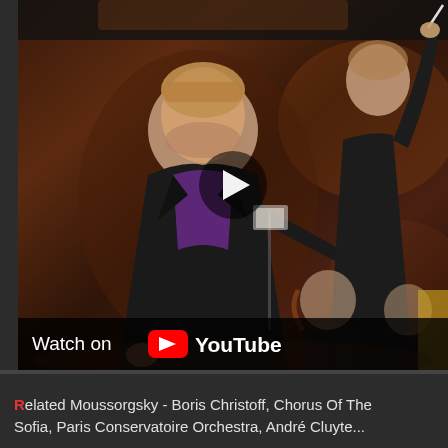[Figure (photo): Screenshot of a YouTube video thumbnail showing a male opera singer in a black suit with a purple shirt performing on stage, gesturing with his hands. A conductor is visible in the background on the right, and orchestra musicians are seated. A play button icon is overlaid at center. A 'Watch on YouTube' bar appears at the bottom of the video.]
Related Moussorgsky - Boris Christoff, Chorus Of The Sofia, Paris Conservatoire Orchestra, André Cluyte...